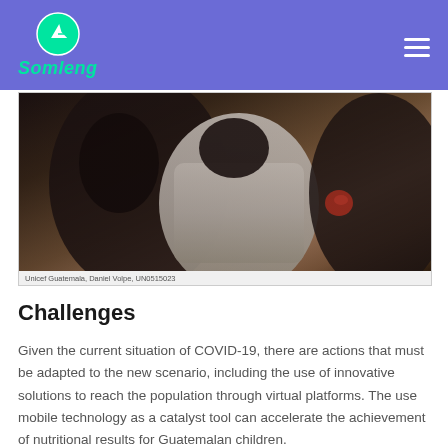Somleng
[Figure (photo): A child photographed from behind, wearing a white shirt, in a dark setting. Photo credit: Unicef Guatemala, Daniel Volpe, UN0515023]
Unicef Guatemala, Daniel Volpe, UN0515023
Challenges
Given the current situation of COVID-19, there are actions that must be adapted to the new scenario, including the use of innovative solutions to reach the population through virtual platforms. The use mobile technology as a catalyst tool can accelerate the achievement of nutritional results for Guatemalan children.